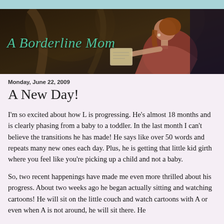[Figure (illustration): Blog header banner showing a classical painting of a woman with reddish-brown hair in profile, wearing a reddish-pink dress, reading or looking at a book/scroll. Dark arched background. Blog title 'A Borderline Mom' overlaid in teal italic text.]
Monday, June 22, 2009
A New Day!
I'm so excited about how L is progressing. He's almost 18 months and is clearly phasing from a baby to a toddler. In the last month I can't believe the transitions he has made! He says like over 50 words and repeats many new ones each day. Plus, he is getting that little kid girth where you feel like you're picking up a child and not a baby.
So, two recent happenings have made me even more thrilled about his progress. About two weeks ago he began actually sitting and watching cartoons! He will sit on the little couch and watch cartoons with A or even when A is not around, he will sit there. He